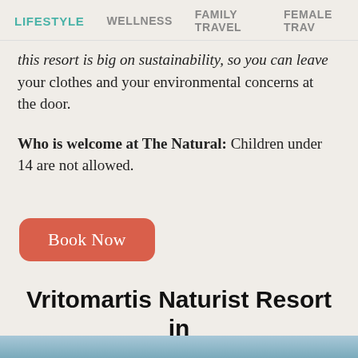LIFESTYLE  WELLNESS  FAMILY TRAVEL  FEMALE TRAV
this resort is big on sustainability, so you can leave your clothes and your environmental concerns at the door.
Who is welcome at The Natural: Children under 14 are not allowed.
Book Now
Vritomartis Naturist Resort in Crete, Greece